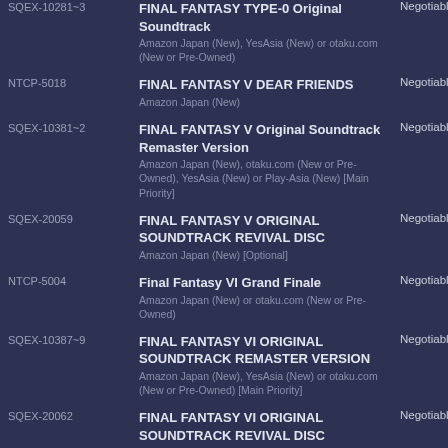| Catalog | Title / Source | Price |
| --- | --- | --- |
| SQEX-10281~3 | FINAL FANTASY TYPE-0 Original Soundtrack
Amazon Japan (New), YesAsia (New) or otaku.com (New or Pre-Owned) | Negotiable |
| NTCP-5018 | FINAL FANTASY V DEAR FRIENDS
Amazon Japan (New) | Negotiable |
| SQEX-10381~2 | FINAL FANTASY V Original Soundtrack Remaster Version
Amazon Japan (New), otaku.com (New or Pre-Owned), YesAsia (New) or Play-Asia (New) [Main Priority] | Negotiable |
| SQEX-20059 | FINAL FANTASY V ORIGINAL SOUNDTRACK REVIVAL DISC
Amazon Japan (New) [Optional] | Negotiable |
| NTCP-5004 | Final Fantasy VI Grand Finale
Amazon Japan (New) or otaku.com (New or Pre-Owned) | Negotiable |
| SQEX-10387~9 | FINAL FANTASY VI ORIGINAL SOUNDTRACK REMASTER VERSION
Amazon Japan (New), YesAsia (New) or otaku.com (New or Pre-Owned) [Main Priority] | Negotiable |
| SQEX-20062 | FINAL FANTASY VI ORIGINAL SOUNDTRACK REVIVAL DISC
Amazon Japan (New) [Optional] | Negotiable |